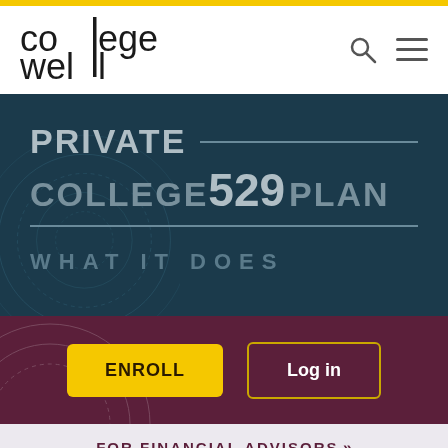[Figure (logo): CollegeWell logo with vertical bar separating 'col' and 'ege' on top row and 'wel' and 'l' on bottom row, stylized monogram]
PRIVATE COLLEGE 529 PLAN
WHAT IT DOES
ENROLL
Log in
FOR FINANCIAL ADVISORS »